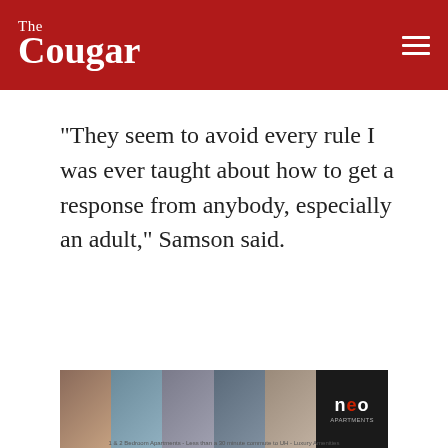The Cougar
“They seem to avoid every rule I was ever taught about how to get a response from anybody, especially an adult,” Samson said.
[Figure (illustration): Advertisement banner for Neo Apartments showing lifestyle photos of people at pool and outdoor areas with NEO logo on right side and text: 1 & 2 Bedroom Apartments - Less than a 30 minute commute to UH - Luxury Amenities]